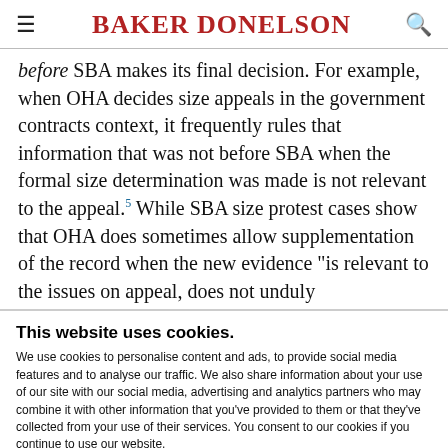BAKER DONELSON
before SBA makes its final decision. For example, when OHA decides size appeals in the government contracts context, it frequently rules that information that was not before SBA when the formal size determination was made is not relevant to the appeal.5 While SBA size protest cases show that OHA does sometimes allow supplementation of the record when the new evidence "is relevant to the issues on appeal, does not unduly
This website uses cookies.
We use cookies to personalise content and ads, to provide social media features and to analyse our traffic. We also share information about your use of our site with our social media, advertising and analytics partners who may combine it with other information that you've provided to them or that they've collected from your use of their services. You consent to our cookies if you continue to use our website.